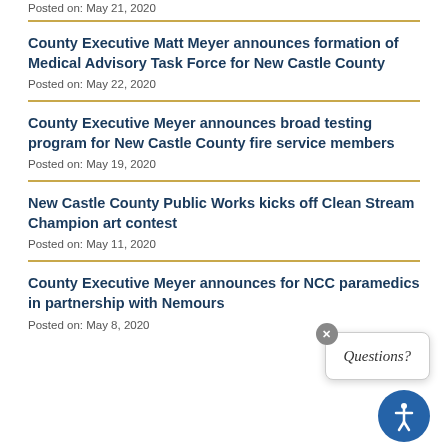Posted on: May 21, 2020
County Executive Matt Meyer announces formation of Medical Advisory Task Force for New Castle County
Posted on: May 22, 2020
County Executive Meyer announces broad testing program for New Castle County fire service members
Posted on: May 19, 2020
New Castle County Public Works kicks off Clean Stream Champion art contest
Posted on: May 11, 2020
County Executive Meyer announces [content] for NCC paramedics in partnership with Nemours
Posted on: May 8, 2020